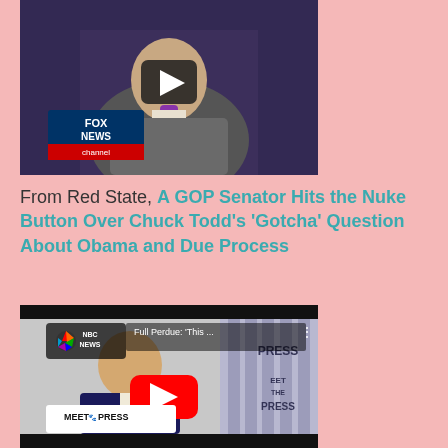[Figure (screenshot): Fox News video thumbnail showing a man in a suit with a purple tie, with a play button overlay and Fox News channel logo in the lower left]
From Red State, A GOP Senator Hits the Nuke Button Over Chuck Todd's 'Gotcha' Question About Obama and Due Process
[Figure (screenshot): NBC News / Meet the Press YouTube video thumbnail showing a man in a suit with 'Full Perdue: This...' title, YouTube play button, NBC News logo, and Meet the Press branding]